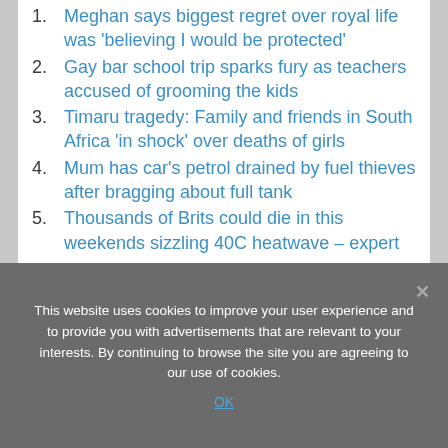Meghan says biggest regret over royal life was 'believing I would be protected'
Gay bar school trip sparks fury as teachers accused of grooming the kids
Timaru tragedy: Family and friends in South Africa 'in shock' over deaths of girls
Mum has car's petrol drained by fuel thieves after bragging about full tank
Thousands of Brits could die in this weekends sizzling 40C heatwave – expert
This website uses cookies to improve your user experience and to provide you with advertisements that are relevant to your interests. By continuing to browse the site you are agreeing to our use of cookies.
OK